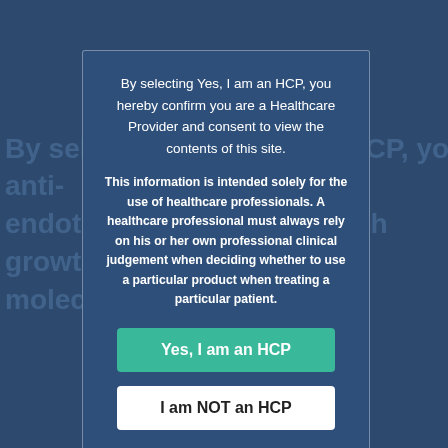[Figure (other): Dark blue background with faint watermark text repeating medical/pharmaceutical terms including 'By selecting Yes, I am an HCP, you hereby confirm', 'anti-', 'endothelial growth factor', 'growth', 'major', 'molecule', 'strategies']
By selecting Yes, I am an HCP, you hereby confirm you are a Healthcare Provider and consent to view the contents of this site.
This information is intended solely for the use of healthcare professionals. A healthcare professional must always rely on his or her own professional clinical judgement when deciding whether to use a particular product when treating a particular patient.
Yes, I am an HCP
I am NOT an HCP